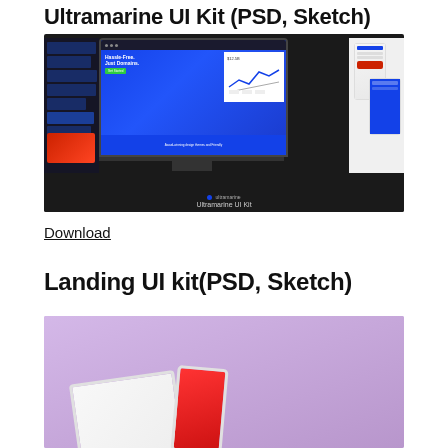Ultramarine UI Kit (PSD, Sketch)
[Figure (screenshot): Screenshot of Ultramarine UI Kit showing a dark background with blue UI screens on a laptop, left sidebar panel, and mobile phone mockups. Caption at bottom reads 'ultramarine' logo and 'Ultramarine UI Kit'.]
Download
Landing UI kit(PSD, Sketch)
[Figure (screenshot): Preview image of Landing UI Kit on a purple/lavender background showing tilted tablet and phone device mockups with app screens.]